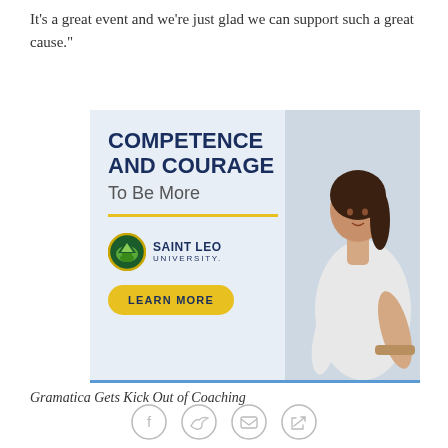It's a great event and we're just glad we can support such a great cause."
[Figure (illustration): Saint Leo University advertisement banner featuring bold text 'COMPETENCE AND COURAGE To Be More', a yellow horizontal divider line, the Saint Leo University logo with circular green/gold emblem, a 'LEARN MORE' yellow button, and a photo of a young woman looking up on the right side. Blue line at bottom.]
Gramatica Gets Kick Out of Coaching
[Figure (infographic): Row of four social media sharing icons: Facebook (f), Twitter (bird), Email (envelope), and Link/share symbol — all outlined circles in light gray.]